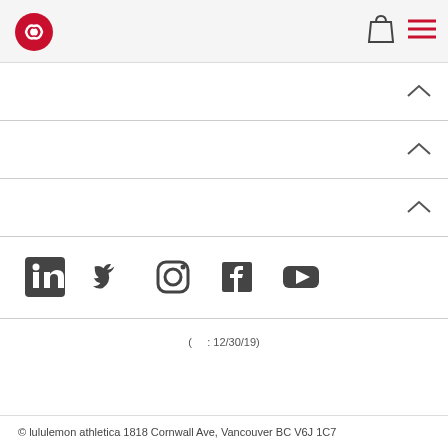lululemon athletica website header with logo, shopping bag icon, and hamburger menu
[Figure (screenshot): Accordion row 1 with chevron up arrow on the right]
[Figure (screenshot): Accordion row 2 with chevron up arrow on the right]
[Figure (screenshot): Accordion row 3 with chevron up arrow on the right]
[Figure (infographic): Social media icons row: LinkedIn, Twitter, Instagram, Facebook, YouTube]
( : 12/30/19)
© lululemon athletica 1818 Cornwall Ave, Vancouver BC V6J 1C7